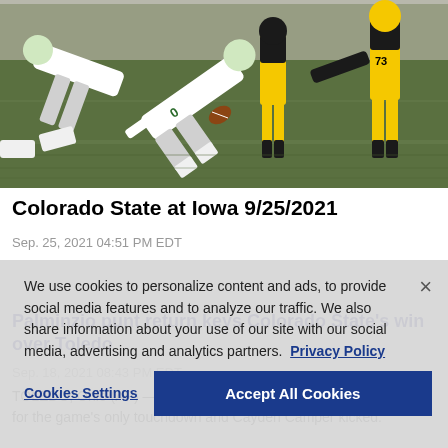[Figure (photo): Football game action photo showing players from Colorado State (white uniforms, number 0) and Iowa (black and gold uniforms, number 73) in a play during the Colorado State at Iowa game on 9/25/2021.]
Colorado State at Iowa 9/25/2021
Sep. 25, 2021 04:51 PM EDT
Palminzio punt return keys Colorado State's win over Toledo
Sep. 18, 2021 08:43 PM EDT
TOLEDO, Ohio (AP) — Thomas Palminzio returned a punt 70 yards for the game's only touchdown and Cayden Camper kicked.
We use cookies to personalize content and ads, to provide social media features and to analyze our traffic. We also share information about your use of our site with our social media, advertising and analytics partners.  Privacy Policy
Cookies Settings
Accept All Cookies